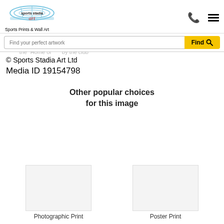Sports Stadia Art — Sports Prints & Wall Art
between 6 September 1513 and 7 May 2006. It was popularly to its location given the the "Home of" by the club
© Sports Stadia Art Ltd
Media ID 19154798
Other popular choices for this image
Photographic Print
Poster Print